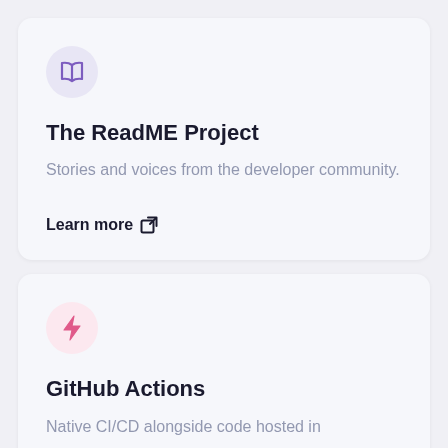[Figure (illustration): Purple book/open book icon inside a light purple circle]
The ReadME Project
Stories and voices from the developer community.
Learn more ↗
[Figure (illustration): Pink lightning bolt icon inside a light pink circle]
GitHub Actions
Native CI/CD alongside code hosted in